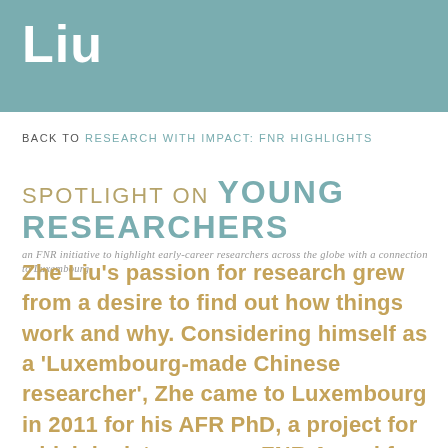Liu
BACK TO RESEARCH WITH IMPACT: FNR HIGHLIGHTS
SPOTLIGHT ON YOUNG RESEARCHERS
an FNR initiative to highlight early-career researchers across the globe with a connection to Luxembourg
Zhe Liu's passion for research grew from a desire to find out how things work and why. Considering himself as a 'Luxembourg-made Chinese researcher', Zhe came to Luxembourg in 2011 for his AFR PhD, a project for which he later won an FNR Award for